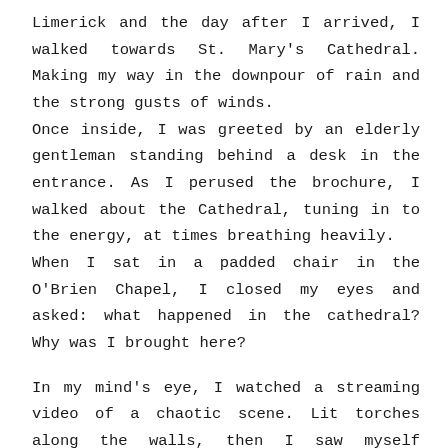Limerick and the day after I arrived, I walked towards St. Mary's Cathedral. Making my way in the downpour of rain and the strong gusts of winds.
Once inside, I was greeted by an elderly gentleman standing behind a desk in the entrance. As I perused the brochure, I walked about the Cathedral, tuning in to the energy, at times breathing heavily.
When I sat in a padded chair in the O'Brien Chapel, I closed my eyes and asked: what happened in the cathedral? Why was I brought here?
In my mind's eye, I watched a streaming video of a chaotic scene. Lit torches along the walls, then I saw myself clinging in fear to a group of people. The scene felt urgent, I wore no shoes as the monks led us to the back of the Cathedral. Then the scene dissolved.